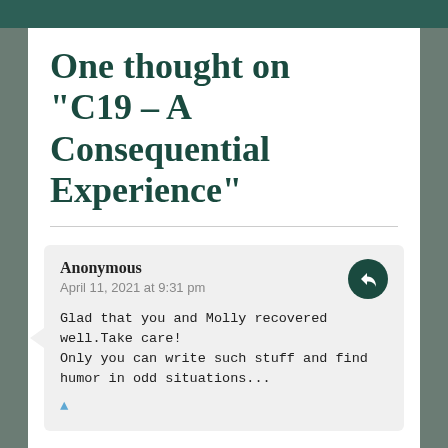One thought on “C19 – A Consequential Experience”
Anonymous
April 11, 2021 at 9:31 pm
Glad that you and Molly recovered well.Take care!
Only you can write such stuff and find humor in odd situations...